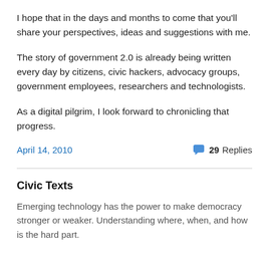I hope that in the days and months to come that you'll share your perspectives, ideas and suggestions with me.
The story of government 2.0 is already being written every day by citizens, civic hackers, advocacy groups, government employees, researchers and technologists.
As a digital pilgrim, I look forward to chronicling that progress.
April 14, 2010   29 Replies
Civic Texts
Emerging technology has the power to make democracy stronger or weaker. Understanding where, when, and how is the hard part.